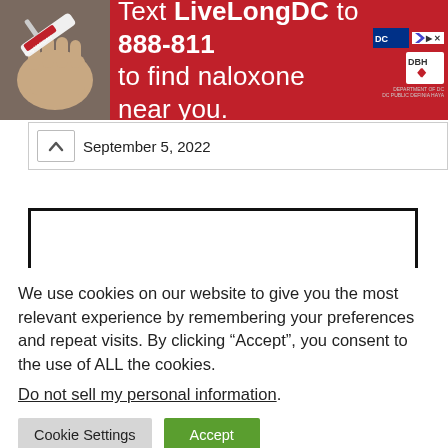[Figure (infographic): Red advertisement banner: left side shows a hand holding a naloxone syringe package, text reads 'Text LiveLongDC to 888-811 to find naloxone near you.' with DC and DBH logos and an ad close button on the right.]
September 5, 2022
[Figure (other): Empty white content box with thick black border]
We use cookies on our website to give you the most relevant experience by remembering your preferences and repeat visits. By clicking “Accept”, you consent to the use of ALL the cookies.
Do not sell my personal information.
Cookie Settings
Accept